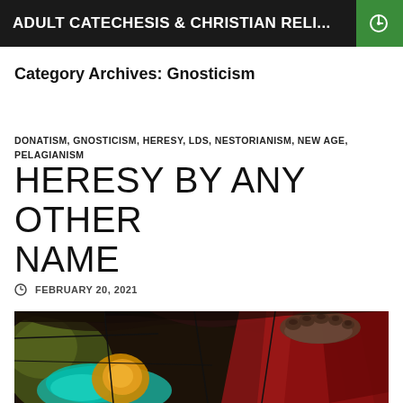ADULT CATECHESIS & CHRISTIAN RELI...
Category Archives: Gnosticism
DONATISM, GNOSTICISM, HERESY, LDS, NESTORIANISM, NEW AGE, PELAGIANISM
HERESY BY ANY OTHER NAME
FEBRUARY 20, 2021
[Figure (photo): Stained glass artwork showing colorful religious imagery with figures, featuring teal, orange, red, and dark tones]